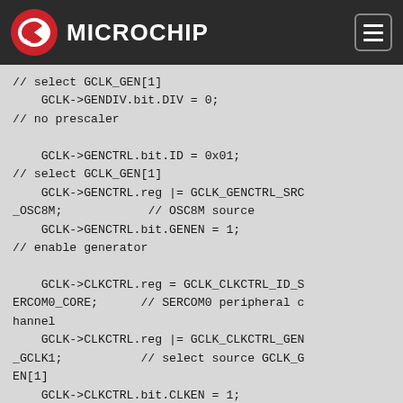Microchip
// select GCLK_GEN[1]
    GCLK->GENDIV.bit.DIV = 0;
// no prescaler

    GCLK->GENCTRL.bit.ID = 0x01;
// select GCLK_GEN[1]
    GCLK->GENCTRL.reg |= GCLK_GENCTRL_SRC_OSC8M;           // OSC8M source
    GCLK->GENCTRL.bit.GENEN = 1;
// enable generator

    GCLK->CLKCTRL.reg = GCLK_CLKCTRL_ID_SERCOM0_CORE;      // SERCOM0 peripheral channel
    GCLK->CLKCTRL.reg |= GCLK_CLKCTRL_GEN_GCLK1;          // select source GCLK_GEN[1]
    GCLK->CLKCTRL.bit.CLKEN = 1;
// enable generic clock